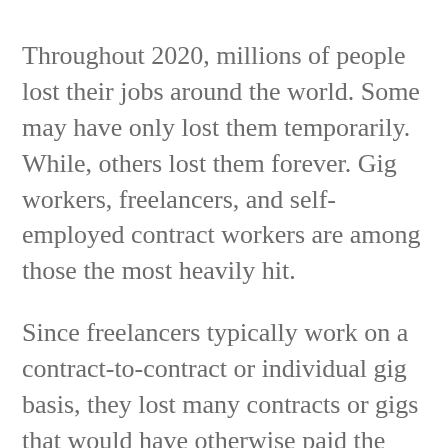Throughout 2020, millions of people lost their jobs around the world. Some may have only lost them temporarily. While, others lost them forever. Gig workers, freelancers, and self-employed contract workers are among those the most heavily hit.
Since freelancers typically work on a contract-to-contract or individual gig basis, they lost many contracts or gigs that would have otherwise paid the bills. Now, they find themselves struggling and relying on bail-out loans, special pandemic unemployment assistance PUA, and creativity.
Creativity is possibly what drives freelancers